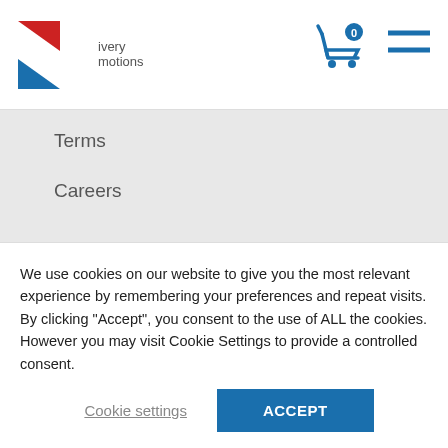[Figure (logo): K-shaped logo with red top-left triangle and blue bottom-right triangle, with text 'ivery' and 'motions' to the right]
[Figure (other): Shopping cart icon in blue with a badge showing '0']
[Figure (other): Hamburger menu icon — two horizontal blue lines]
Terms
Careers
Help Centre
Blinds Configurator
We use cookies on our website to give you the most relevant experience by remembering your preferences and repeat visits. By clicking “Accept”, you consent to the use of ALL the cookies. However you may visit Cookie Settings to provide a controlled consent.
Cookie settings
ACCEPT